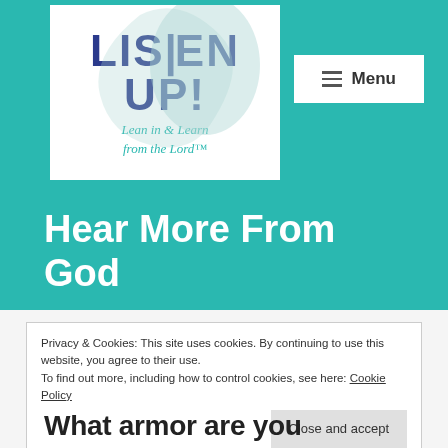[Figure (logo): Listen Up! logo with tagline 'Lean in & Learn from the Lord™' on white background, teal bird/dove graphic]
[Figure (other): Menu button with hamburger icon on white background]
Hear More From God
Privacy & Cookies: This site uses cookies. By continuing to use this website, you agree to their use.
To find out more, including how to control cookies, see here: Cookie Policy
Close and accept
What armor are you